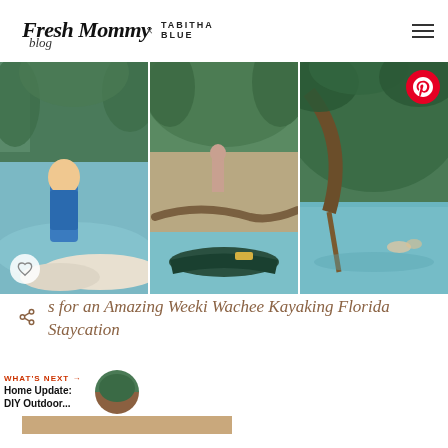Fresh Mommy Blog x TABITHA BLUE
[Figure (photo): Three-panel photo collage showing kayaking/canoeing at Weeki Wachee, Florida: left panel shows a young girl in a blue life vest in a canoe on turquoise water surrounded by trees; center panel shows canoes on sandy shore with turquoise water and lush green trees; right panel shows turquoise water with overhanging tree branches and people in background. Pinterest share button top-right. Heart/save button bottom-left of first panel.]
s for an Amazing Weeki Wachee Kayaking Florida Staycation
WHAT'S NEXT → Home Update: DIY Outdoor...
CONTINUE READING